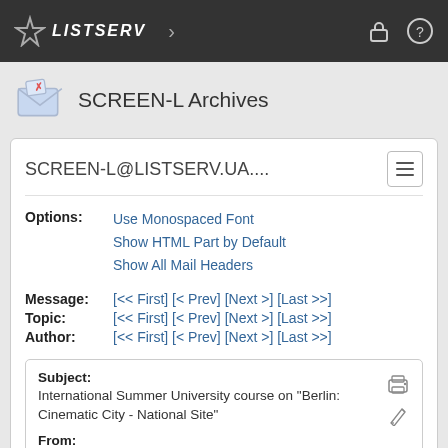LISTSERV
SCREEN-L Archives
SCREEN-L@LISTSERV.UA....
Options: Use Monospaced Font
Show HTML Part by Default
Show All Mail Headers
Message: [<< First] [< Prev] [Next >] [Last >>]
Topic: [<< First] [< Prev] [Next >] [Last >>]
Author: [<< First] [< Prev] [Next >] [Last >>]
Subject:
International Summer University course on "Berlin: Cinematic City - National Site"
From:
Jens Westerfeld <[log in to unmask]>
Reply To:
Film and TV Studies Discussion List <[log in to